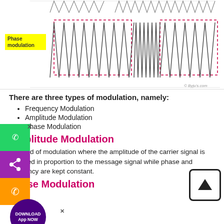[Figure (continuous-plot): Diagram showing phase modulation waveform — a high-frequency triangular/sawtooth carrier wave with a dashed red rectangle highlighting a section where frequency changes (phase modulation). Yellow label reads 'Phase modulation'. Byju's.com copyright watermark.]
There are three types of modulation, namely:
Frequency Modulation
Amplitude Modulation
Phase Modulation
Amplitude Modulation
is a kind of modulation where the amplitude of the carrier signal is changed in proportion to the message signal while phase and frequency are kept constant.
Phase Modulation